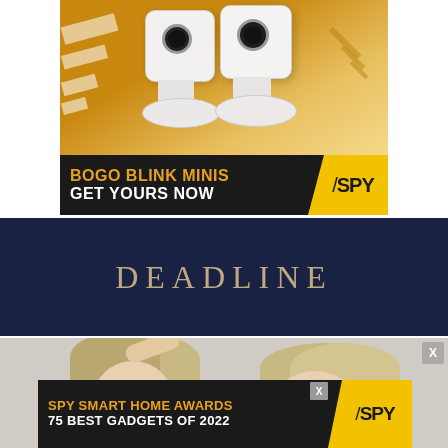[Figure (photo): Advertisement banner for BOGO Blink Minis security cameras with yellow/orange background showing two white security cameras, black banner with text 'BOGO BLINK MINIS / GET YOURS NOW' and SPY logo in yellow]
[Figure (logo): DEADLINE website logo in serif uppercase lettering on dark navy blue background]
[Figure (photo): Partial photo of two blonde women on light grey background]
[Figure (photo): Bottom advertisement banner: SPY SMART HOME AWARDS / 75 BEST GADGETS OF 2022 with SPY logo in yellow on black background]